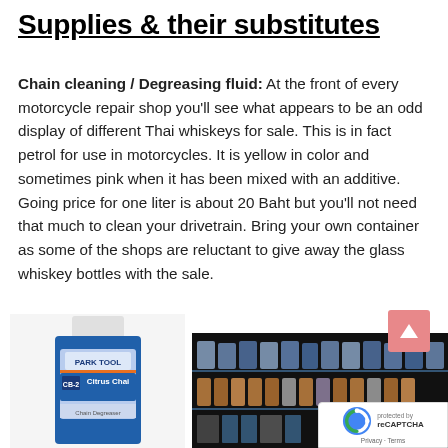Supplies & their substitutes
Chain cleaning / Degreasing fluid: At the front of every motorcycle repair shop you'll see what appears to be an odd display of different Thai whiskeys for sale. This is in fact petrol for use in motorcycles. It is yellow in color and sometimes pink when it has been mixed with an additive. Going price for one liter is about 20 Baht but you'll not need that much to clean your drivetrain. Bring your own container as some of the shops are reluctant to give away the glass whiskey bottles with the sale.
[Figure (photo): Photo of a Park Tool Citrus Chain cleaner bottle (blue label) on the left, and a photo of shelves stocked with bottles in a shop on the right. A salmon/pink 'back to top' arrow button is visible in the upper right of the image area.]